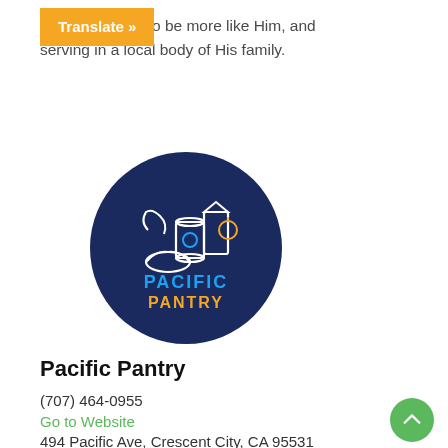Christ, growing to be more like Him, and serving in a local body of His family.
[Figure (logo): Pacific Pantry circular logo on dark navy blue background with illustrated food items (can, milk carton, bread, banana) and text 'PACIFIC PANTRY' in blue and orange]
Pacific Pantry
(707) 464-0955
Go to Website
494 Pacific Ave, Crescent City, CA 95531
Family|Health
The DNATL Community Food Council is a group of